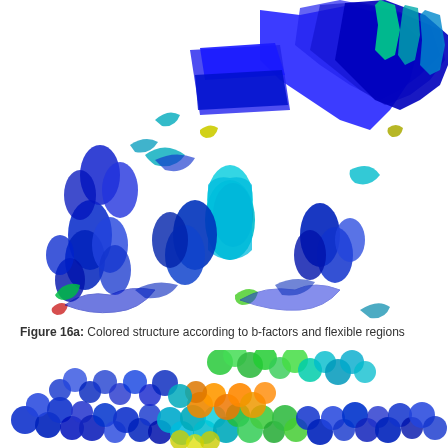[Figure (illustration): Ribbon diagram of a protein structure colored by b-factors and flexible regions. The structure shows alpha helices and beta sheets rendered in shades of blue, cyan, green, and yellow, indicating varying degrees of flexibility. The main body is dominated by deep blue helices with cyan and teal accents, with some green and yellow loops at the periphery indicating more flexible regions.]
Figure 16a: Colored structure according to b-factors and flexible regions
[Figure (illustration): Space-filling (CPK) molecular model of a protein structure colored by b-factors. Spheres represent individual atoms colored in blue, cyan, green, orange, and yellow, corresponding to different b-factor values. The orange region indicates high b-factors (high flexibility), while blue indicates low b-factors (rigid regions).]